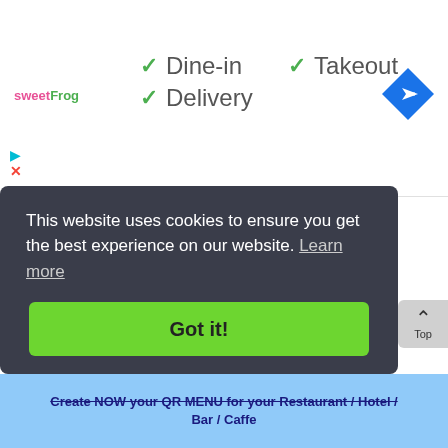[Figure (logo): sweetFrog logo in pink and green text]
✓ Dine-in   ✓ Takeout
✓ Delivery
[Figure (other): Blue diamond-shaped navigation/directions icon with white arrow]
[Figure (other): Collapse/chevron-up button]
[Figure (other): Small navigation play and close icons]
.
This website uses cookies to ensure you get the best experience on our website. Learn more
Got it!
Top
Create NOW your QR MENU for your Restaurant / Hotel / Bar / Caffe